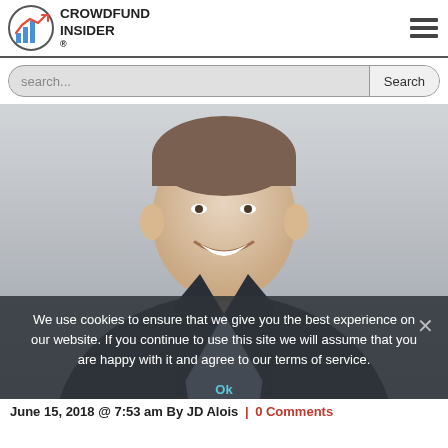CROWDFUND INSIDER
[Figure (photo): Professional headshot of a man in a dark suit and light blue shirt, smiling, against a light background. Cookie consent overlay visible at bottom.]
We use cookies to ensure that we give you the best experience on our website. If you continue to use this site we will assume that you are happy with it and agree to our terms of service.
Ok
June 15, 2018 @ 7:53 am By JD Alois | 0 Comments